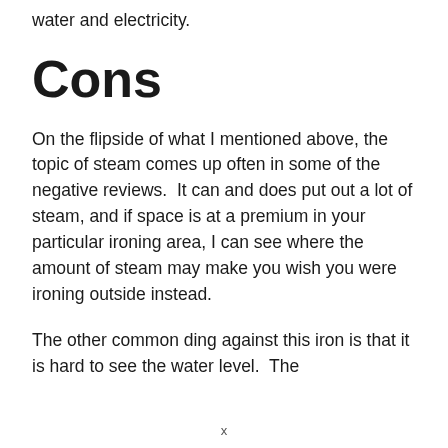water and electricity.
Cons
On the flipside of what I mentioned above, the topic of steam comes up often in some of the negative reviews.  It can and does put out a lot of steam, and if space is at a premium in your particular ironing area, I can see where the amount of steam may make you wish you were ironing outside instead.
The other common ding against this iron is that it is hard to see the water level.  The
x